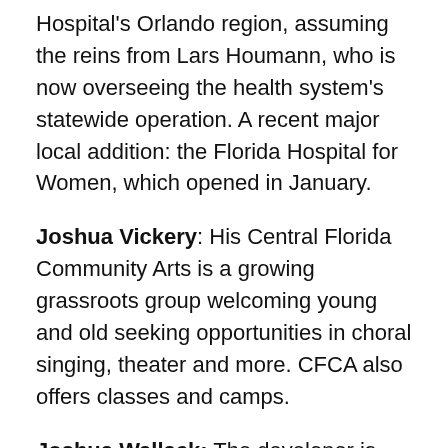Hospital's Orlando region, assuming the reins from Lars Houmann, who is now overseeing the health system's statewide operation. A recent major local addition: the Florida Hospital for Women, which opened in January.
Joshua Vickery: His Central Florida Community Arts is a growing grassroots group welcoming young and old seeking opportunities in choral singing, theater and more. CFCA also offers classes and camps.
Joshua Wallack: The developer is about to transform the northern side of International Drive with his Skyplex, which will include the world's tallest roller coaster and a 350-room hotel. Wallack's project won approval from Orange County despite